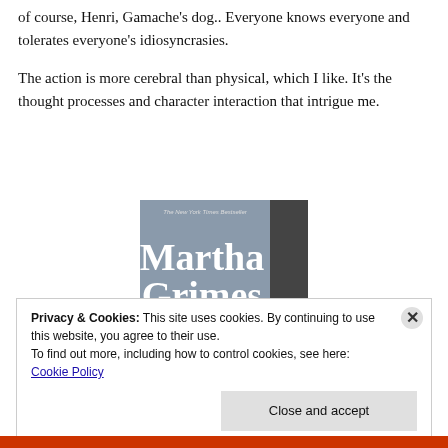of course, Henri, Gamache's dog.. Everyone knows everyone and tolerates everyone's idiosyncrasies.
The action is more cerebral than physical, which I like. It's the thought processes and character interaction that intrigue me.
[Figure (photo): Book cover of 'The Old Wine Shades' by Martha Grimes, New York Times Bestseller]
Privacy & Cookies: This site uses cookies. By continuing to use this website, you agree to their use.
To find out more, including how to control cookies, see here: Cookie Policy
[Close and accept]